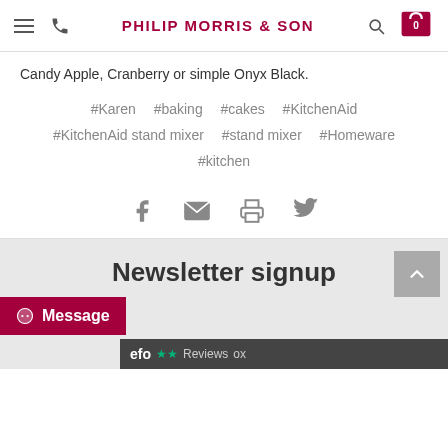PHILIP MORRIS & SON
Candy Apple, Cranberry or simple Onyx Black.
#Karen   #baking   #cakes   #KitchenAid
#KitchenAid stand mixer   #stand mixer   #Homeware
#kitchen
[Figure (infographic): Social share icons: Facebook, email, print, Twitter]
Newsletter signup
Message
efo Reviews ox